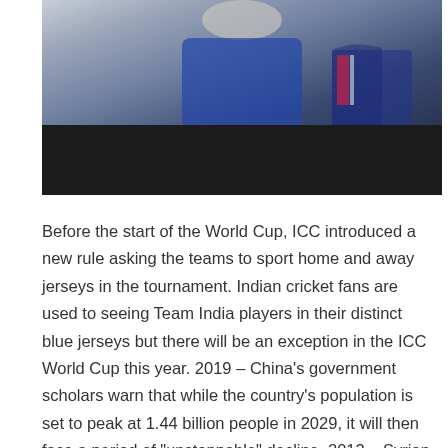[Figure (photo): A sports photograph showing a player in a blue jersey (appears to be New England Patriots or similar team), upper body visible, with a dark bottom band. Red bullet-point dots visible on the left side.]
Before the start of the World Cup, ICC introduced a new rule asking the teams to sport home and away jerseys in the tournament. Indian cricket fans are used to seeing Team India players in their distinct blue jerseys but there will be an exception in the ICC World Cup this year. 2019 – China's government scholars warn that while the country's population is set to peak at 1.44 billion people in 2029, it will then face a period of “unstoppable” decline. 2013 – Syrian president Bashar as-Assad makes a rare public appearance, sketching out a peace plan for his country while continuing to call his opponents “terrorists” and refusing to step down. The white areas can present as diamond-shaped patches on the shoulders or hips, to a stripe from the top of the shoulder down to the elbow. National Institutes of Health can…